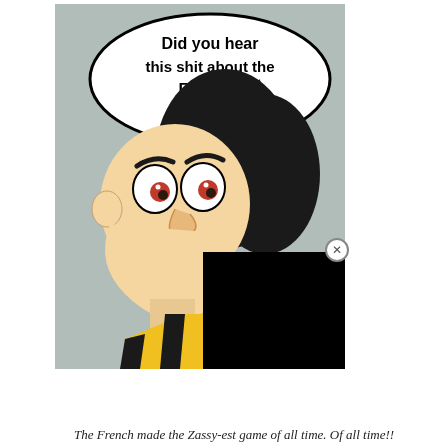[Figure (illustration): Comic-style illustration of a cartoon character with wild black hair, large white eyes with red pupils, open mouth showing teeth, wearing a yellow and black striped jacket/scarf. Above the character is a speech bubble reading 'Did you hear this shit about the French?'. Background is grey. Lower right portion of the image is obscured by a black rectangle. A small circle-X close button appears at the top right of the black rectangle.]
The French made the Zassy-est game of all time. Of all time!!